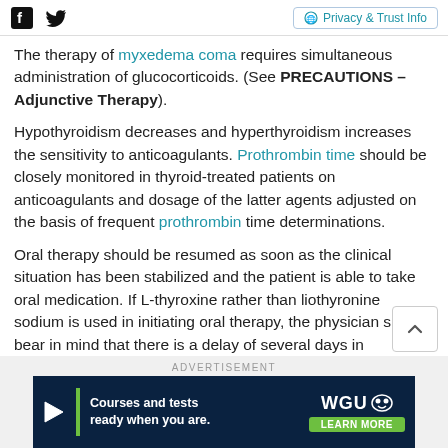[Facebook icon] [Twitter icon] | Privacy & Trust Info
The therapy of myxedema coma requires simultaneous administration of glucocorticoids. (See PRECAUTIONS – Adjunctive Therapy).
Hypothyroidism decreases and hyperthyroidism increases the sensitivity to anticoagulants. Prothrombin time should be closely monitored in thyroid-treated patients on anticoagulants and dosage of the latter agents adjusted on the basis of frequent prothrombin time determinations.
Oral therapy should be resumed as soon as the clinical situation has been stabilized and the patient is able to take oral medication. If L-thyroxine rather than liothyronine sodium is used in initiating oral therapy, the physician should bear in mind that there is a delay of several days in
ADVERTISEMENT
[Figure (other): WGU advertisement banner: 'Courses and tests ready when you are.' with LEARN MORE button]